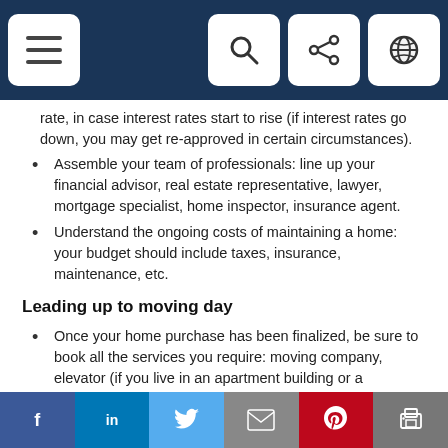Navigation bar with menu, search, share, and globe icons
rate, in case interest rates start to rise (if interest rates go down, you may get re-approved in certain circumstances).
Assemble your team of professionals: line up your financial advisor, real estate representative, lawyer, mortgage specialist, home inspector, insurance agent.
Understand the ongoing costs of maintaining a home: your budget should include taxes, insurance, maintenance, etc.
Leading up to moving day
Once your home purchase has been finalized, be sure to book all the services you require: moving company, elevator (if you live in an apartment building or a
f  in  Twitter  Email  Pinterest  Print